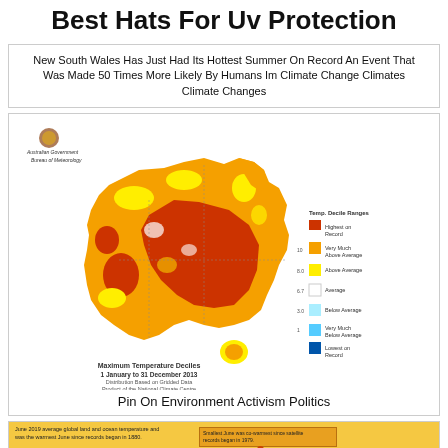Best Hats For Uv Protection
New South Wales Has Just Had Its Hottest Summer On Record An Event That Was Made 50 Times More Likely By Humans Im Climate Change Climates Climate Changes
[Figure (map): Australian Government Bureau of Meteorology map showing Maximum Temperature Deciles 1 January to 31 December 2013. The map shows most of Australia in orange (Very Much Above Average) and dark orange/red (Highest on Record), with a legend showing temperature decile ranges from Highest on Record to Lowest on Record.]
Pin On Environment Activism Politics
[Figure (other): Partial view of another climate-related chart showing global temperature records, partially cut off at the bottom of the page.]